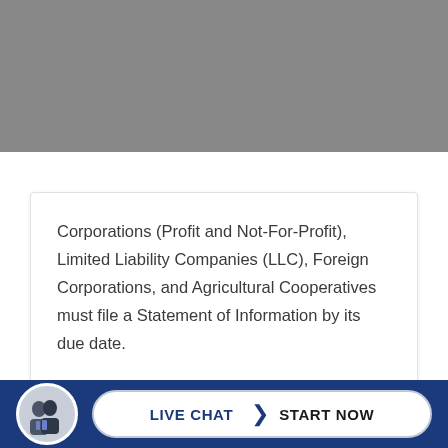[Figure (photo): Gray banner/header image area at the top of the page]
Corporations (Profit and Not-For-Profit), Limited Liability Companies (LLC), Foreign Corporations, and Agricultural Cooperatives must file a Statement of Information by its due date.
[Figure (screenshot): Live Chat button with avatar photo and 'LIVE CHAT > START NOW' call-to-action on dark blue footer bar]